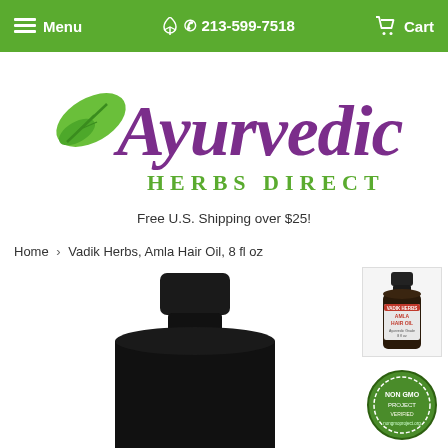Menu  213-599-7518  Cart
[Figure (logo): Ayurvedic Herbs Direct logo with green leaf and purple script text 'Ayurvedic' and green serif 'HERBS DIRECT']
Free U.S. Shipping over $25!
Home › Vadik Herbs, Amla Hair Oil, 8 fl oz
[Figure (photo): Dark silhouette of a large bottle of Amla Hair Oil (8 fl oz) as main product image]
[Figure (photo): Small thumbnail of Vadik Herbs Amla Hair Oil bottle with red label]
[Figure (other): Non-GMO badge/seal (green circular badge partially visible)]